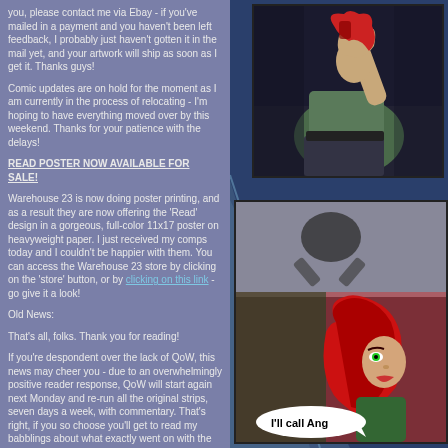you, please contact me via Ebay - if you've mailed in a payment and you haven't been left feedback, I probably just haven't gotten it in the mail yet, and your artwork will ship as soon as I get it. Thanks guys!
Comic updates are on hold for the moment as I am currently in the process of relocating - I'm hoping to have everything moved over by this weekend. Thanks for your patience with the delays!
READ POSTER NOW AVAILABLE FOR SALE!
Warehouse 23 is now doing poster printing, and as a result they are now offering the 'Read' design in a gorgeous, full-color 11x17 poster on heavyweight paper. I just received my comps today and I couldn't be happier with them. You can access the Warehouse 23 store by clicking on the 'store' button, or by clicking on this link - go give it a look!
Old News:
That's all, folks. Thank you for reading!
If you're despondent over the lack of QoW, this news may cheer you - due to an overwhelmingly positive reader response, QoW will start again next Monday and re-run all the original strips, seven days a week, with commentary. That's right, if you so choose you'll get to read my babblings about what exactly went on with the
[Figure (illustration): Comic illustration of a female character in green shirt and dark skirt, facing away, with red scarf]
[Figure (illustration): Comic panel showing a skull/crossbones image at top and a red-haired female character with green eyes below, with speech bubble saying 'I'll call Ang']